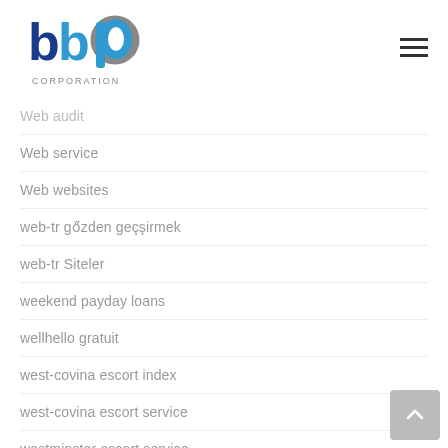[Figure (logo): BBP Corporation logo with blue and grey lettering and CORPORATION text below]
Web audit
Web service
Web websites
web-tr gözden geçirmek
web-tr Siteler
weekend payday loans
wellhello gratuit
west-covina escort index
west-covina escort service
westminster escort service